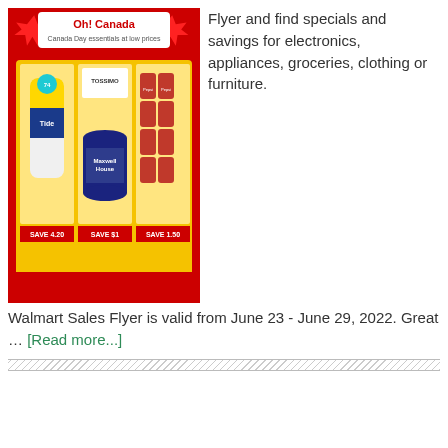[Figure (photo): Walmart Canada Day flyer advertisement showing Tide detergent (SAVE 4.20), Maxwell House Tassimo coffee (SAVE $1), and Pepsi cans (SAVE 1.50) against a red and yellow background with maple leaves and text 'Oh! Canada - Canada Day essentials at low prices']
Flyer and find specials and savings for electronics, appliances, groceries, clothing or furniture. Walmart Sales Flyer is valid from June 23 - June 29, 2022. Great … [Read more...]